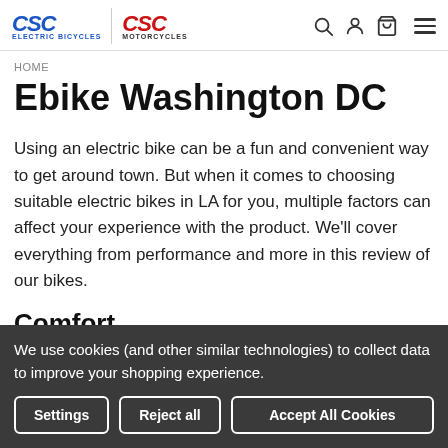CSC ELECTRIC BICYCLES   CSC MOTORCYCLES
HOME
Ebike Washington DC
Using an electric bike can be a fun and convenient way to get around town. But when it comes to choosing suitable electric bikes in LA for you, multiple factors can affect your experience with the product. We'll cover everything from performance and more in this review of our bikes.
Comfort
We use cookies (and other similar technologies) to collect data to improve your shopping experience.
Settings   Reject all   Accept All Cookies